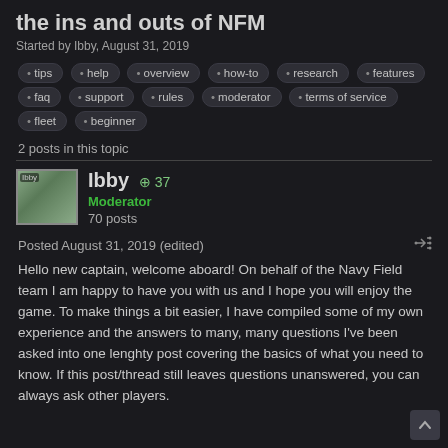the ins and outs of NFM
Started by Ibby, August 31, 2019
tips • help • overview • how-to • research • features • faq • support • rules • moderator • terms of service • fleet • beginner
2 posts in this topic
Ibby +37 Moderator 70 posts
Posted August 31, 2019 (edited)
Hello new captain, welcome aboard! On behalf of the Navy Field team I am happy to have you with us and I hope you will enjoy the game. To make things a bit easier, I have compiled some of my own experience and the answers to many, many questions I've been asked into one lenghty post covering the basics of what you need to know. If this post/thread still leaves questions unanswered, you can always ask other players.